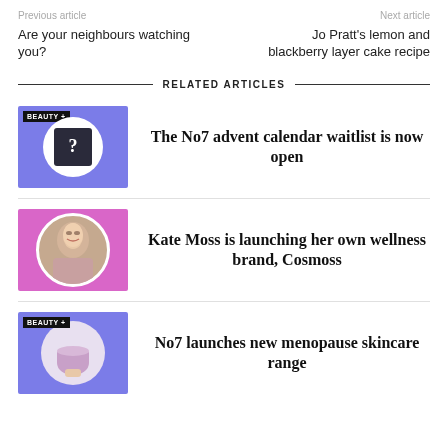Previous article | Next article
Are your neighbours watching you?
Jo Pratt's lemon and blackberry layer cake recipe
RELATED ARTICLES
[Figure (photo): No7 advent calendar – dark box with question mark on blue background with BEAUTY+ badge]
The No7 advent calendar waitlist is now open
[Figure (photo): Kate Moss circular portrait photo on pink/magenta background]
Kate Moss is launching her own wellness brand, Cosmoss
[Figure (photo): Pink skincare jar held by hand in circular frame on blue background with BEAUTY+ badge]
No7 launches new menopause skincare range